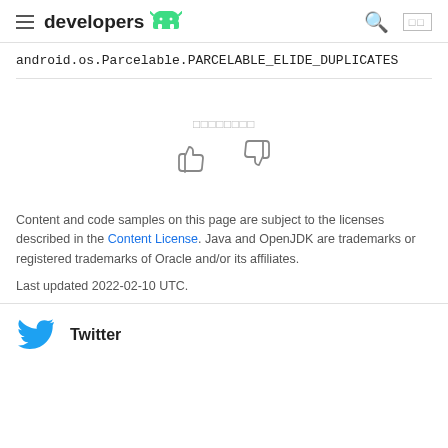developers (Android logo)
android.os.Parcelable.PARCELABLE_ELIDE_DUPLICATES
[Figure (other): Feedback thumbs up and thumbs down icons with a label in non-Latin script above]
Content and code samples on this page are subject to the licenses described in the Content License. Java and OpenJDK are trademarks or registered trademarks of Oracle and/or its affiliates.
Last updated 2022-02-10 UTC.
Twitter